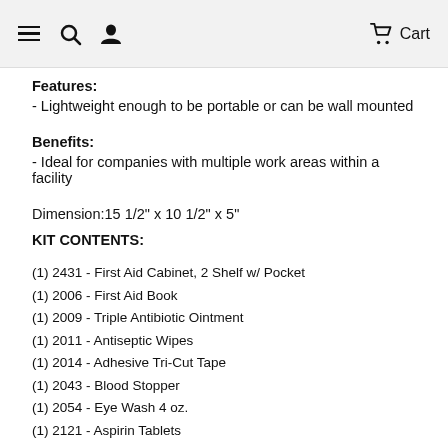≡ 🔍 👤  Cart
Features:
- Lightweight enough to be portable or can be wall mounted
Benefits:
- Ideal for companies with multiple work areas within a facility
Dimension:15 1/2" x 10 1/2" x 5"
KIT CONTENTS:
(1) 2431 - First Aid Cabinet, 2 Shelf w/ Pocket
(1) 2006 - First Aid Book
(1) 2009 - Triple Antibiotic Ointment
(1) 2011 - Antiseptic Wipes
(1) 2014 - Adhesive Tri-Cut Tape
(1) 2043 - Blood Stopper
(1) 2054 - Eye Wash 4 oz.
(1) 2121 - Aspirin Tablets
(1) 2163 - Bandage - Plastic Strips 1 in. x 3 in.
(1) 2165 - Bandage - Fingertips
(1) 2170 - Bandage - Heavy Woven 1 in. x 3 in.